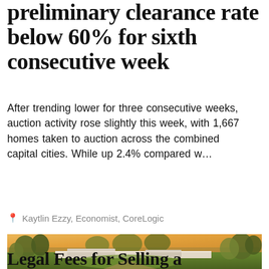preliminary clearance rate below 60% for sixth consecutive week
After trending lower for three consecutive weeks, auction activity rose slightly this week, with 1,667 homes taken to auction across the combined capital cities. While up 2.4% compared w...
Kaytlin Ezzy, Economist, CoreLogic
[Figure (photo): Aerial photograph of a property with a large lawn, trees, and low-profile buildings with white rooftops, taken at sunset with warm golden light]
Legal Fees for Selling a